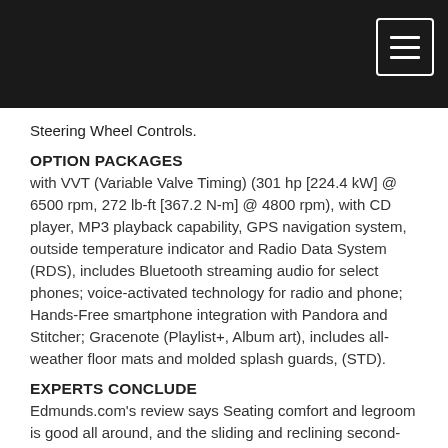Steering Wheel Controls.
OPTION PACKAGES
with VVT (Variable Valve Timing) (301 hp [224.4 kW] @ 6500 rpm, 272 lb-ft [367.2 N-m] @ 4800 rpm), with CD player, MP3 playback capability, GPS navigation system, outside temperature indicator and Radio Data System (RDS), includes Bluetooth streaming audio for select phones; voice-activated technology for radio and phone; Hands-Free smartphone integration with Pandora and Stitcher; Gracenote (Playlist+, Album art), includes all-weather floor mats and molded splash guards, (STD).
EXPERTS CONCLUDE
Edmunds.com's review says Seating comfort and legroom is good all around, and the sliding and reclining second-row seats allow you to expand the amount of legroom in the rear.